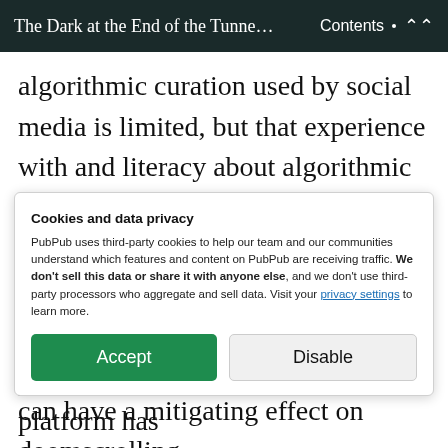The Dark at the End of the Tunne... Contents ↑
algorithmic curation used by social media is limited, but that experience with and literacy about algorithmic filtering can affect user attitudes and usage of the platform (Beer, 2017; Swart, 2021). Hence, it is worth exploring how algorithmic awareness (Zarouali et al., 2021) can have a mitigating effect on doomscrolling
Cookies and data privacy
PubPub uses third-party cookies to help our team and our communities understand which features and content on PubPub are receiving traffic. We don't sell this data or share it with anyone else, and we don't use third-party processors who aggregate and sell data. Visit your privacy settings to learn more.
[Accept] [Disable]
platform from another. Each platform has